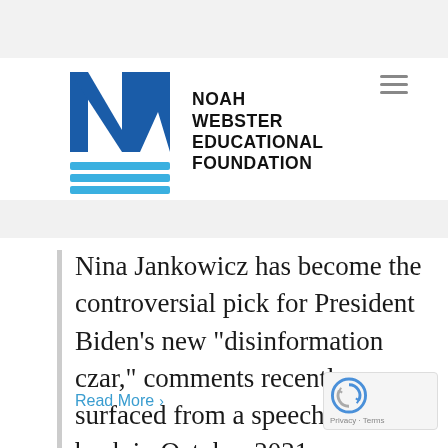[Figure (logo): Noah Webster Educational Foundation logo with NW letters in blue and organization name in black bold text]
Nina Jankowicz has become the controversial pick for President Biden’s new “disinformation czar,” comments recently surfaced from a speech she gave back in October 2021.
Read More >